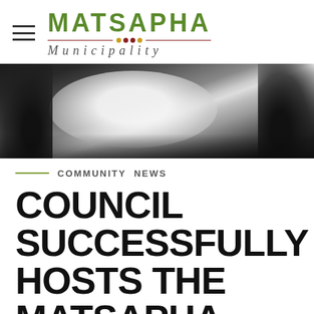MATSAPHA Municipality
[Figure (photo): People seated at a round table with white tablecloth at a conference or meeting, viewed from behind, with water bottles and a laptop on the table.]
COMMUNITY NEWS
COUNCIL SUCCESSFULLY HOSTS THE MATSAPHA